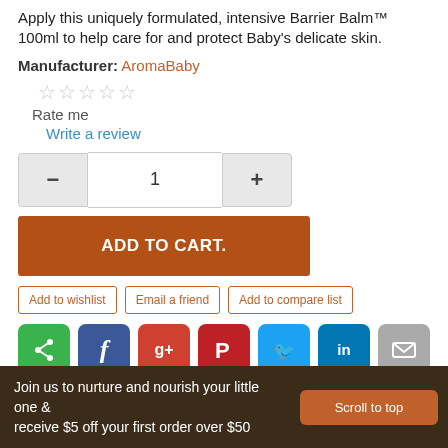Apply this uniquely formulated, intensive Barrier Balm™ 100ml to help care for and protect Baby's delicate skin.
Manufacturer: AromaBaby
☆☆☆☆☆
Rate me
Write a review
[Figure (other): Quantity selector with minus button, input showing 1, and plus button]
ADD TO CART.
Add to wishlist   Email a friend   Add to compare list
[Figure (other): Social sharing icons: share, Facebook, Google+, Pinterest, Twitter, LinkedIn, Email]
Join us to nurture and nourish your little one & receive $5 off your first order over $50